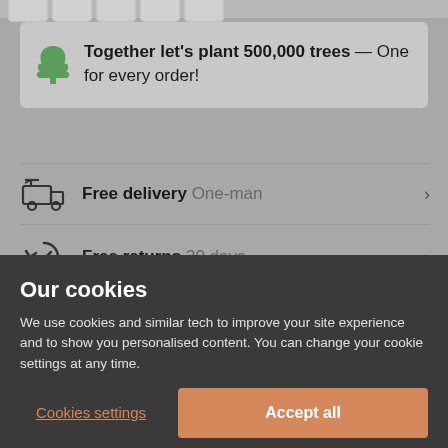[Figure (screenshot): Payment method icons strip at top of page, showing multiple card/payment logos]
Together let's plant 500,000 trees — One for every order!
Free delivery One-man
Free returns 30 days
Our cookies
We use cookies and similar tech to improve your site experience and to show you personalised content. You can change your cookie settings at any time.
Cookies settings
Accept all